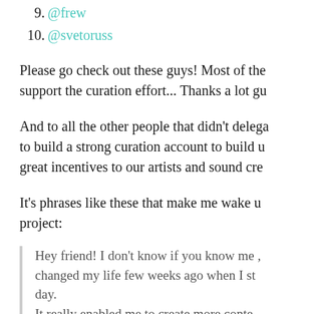9. @frew
10. @svetoruss
Please go check out these guys! Most of the support the curation effort... Thanks a lot gu
And to all the other people that didn't delega to build a strong curation account to build u great incentives to our artists and sound cre
It's phrases like these that make me wake u project:
Hey friend! I don't know if you know me , changed my life few weeks ago when I st day.
It really enabled me to create more conte and more importantly to believe in myse